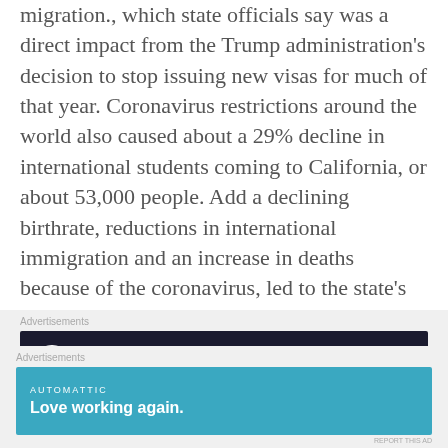migration., which state officials say was a direct impact from the Trump administration's decision to stop issuing new visas for much of that year. Coronavirus restrictions around the world also caused about a 29% decline in international students coming to California, or about 53,000 people. Add a declining birthrate, reductions in international immigration and an increase in deaths because of the coronavirus, led to the state's first ever year-over-year population loss.
[Figure (screenshot): Advertisement banner: dark background with tree/person icon circle, green text 'Teach freely' and 'Make money selling online courses.']
In addition, about 51,000 people died from the
[Figure (screenshot): Advertisement banner: blue background, 'AUTOMATTIC' brand, white bold text 'Love working again.']